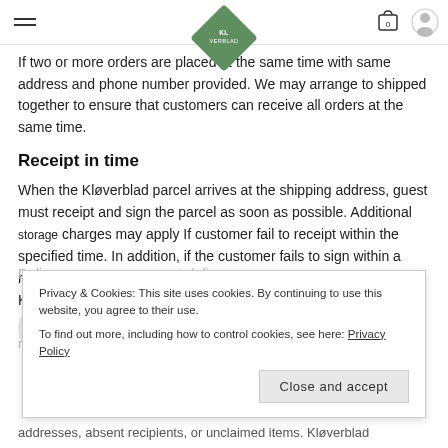If two or more orders are placed at the same time with same address and phone number provided. We may arrange to shipped together to ensure that customers can receive all orders at the same time.
Receipt in time
When the Kløverblad parcel arrives at the shipping address, guest must receipt and sign the parcel as soon as possible. Additional storage charges may apply If customer fail to receipt within the specified time. In addition, if the customer fails to sign within a reasonable time, the goods will be arranged to return to Kløverblad and order will be cancelled
Privacy & Cookies: This site uses cookies. By continuing to use this website, you agree to their use.
To find out more, including how to control cookies, see here: Privacy Policy
Close and accept
Delivery company may not deliver
reason for not being able to deliver more than the incorrect addresses, absent recipients, or unclaimed items. Kløverblad